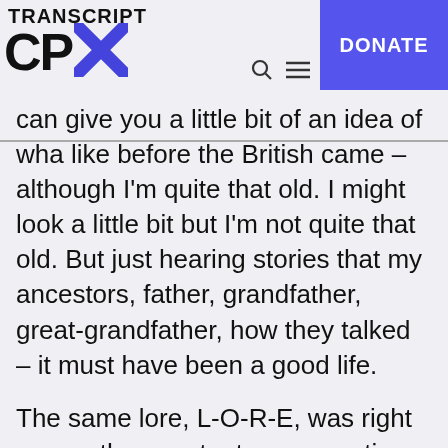TRANSCRIPT CPX [logo with blue X] DONATE
can give you a little bit of an idea of what it was like before the British came – although I'm not quite that old. I might look a little bit but I'm not quite that old. But just hearing stories that my ancestors, father, grandfather, great-grandfather, how they talked – it must have been a good life.
The same lore, L-O-R-E, was right across the country to every nation, or every state I like to call it, rather than nation. So they were interlinked that way, but they were self-governing pockets if you like, across the country, who were responsible for their own areas to take care of the land and do their best in their own little